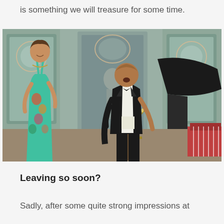is something we will treasure for some time.
[Figure (photo): Two performers in an ornate room with decorative painted panels: a woman in a colorful floral dress on the left, and a man in a tuxedo on the right, with a grand piano partially visible in the background and a candelabra in the center.]
Leaving so soon?
Sadly, after some quite strong impressions at